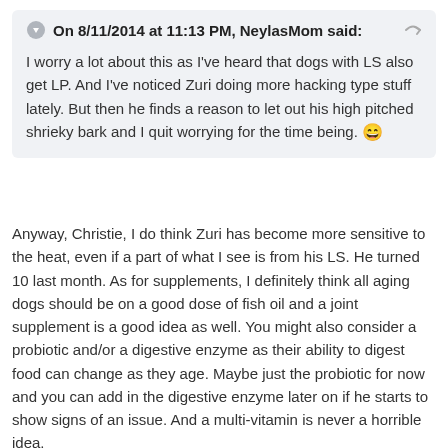On 8/11/2014 at 11:13 PM, NeylasMom said:
I worry a lot about this as I've heard that dogs with LS also get LP. And I've noticed Zuri doing more hacking type stuff lately. But then he finds a reason to let out his high pitched shrieky bark and I quit worrying for the time being. 😄
Anyway, Christie, I do think Zuri has become more sensitive to the heat, even if a part of what I see is from his LS. He turned 10 last month. As for supplements, I definitely think all aging dogs should be on a good dose of fish oil and a joint supplement is a good idea as well. You might also consider a probiotic and/or a digestive enzyme as their ability to digest food can change as they age. Maybe just the probiotic for now and you can add in the digestive enzyme later on if he starts to show signs of an issue. And a multi-vitamin is never a horrible idea.